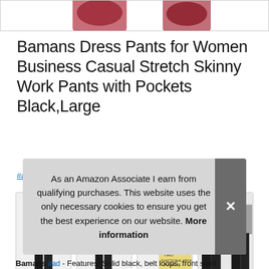[Figure (photo): Partial view of product images at top of page — two shoe/clothing images partially visible]
Bamans Dress Pants for Women Business Casual Stretch Skinny Work Pants with Pockets Black,Large
#ad
[Figure (photo): Row of four product thumbnail images showing black dress pants and model wearing them]
As an Amazon Associate I earn from qualifying purchases. This website uses the only necessary cookies to ensure you get the best experience on our website. More information
Bamans #ad - Features: Solid black, belt loops, front slant